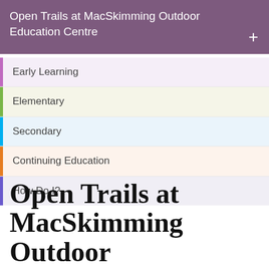Open Trails at MacSkimming Outdoor Education Centre
Early Learning
Elementary
Secondary
Continuing Education
How Do I?
Open Trails at MacSkimming Outdoor